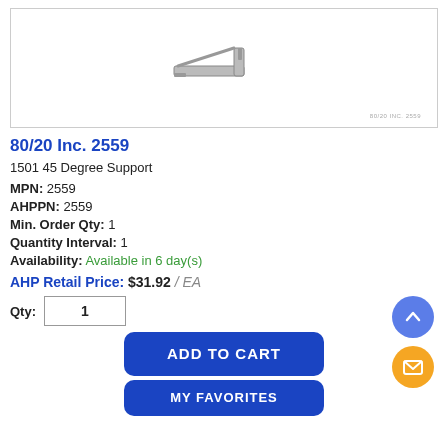[Figure (photo): Product photo of 80/20 Inc. 2559 1501 45 Degree Support bracket, shown as a small metallic angle bracket. Watermark text at bottom right reads '80/20 INC. 2559'.]
80/20 Inc. 2559
1501 45 Degree Support
MPN: 2559
AHPPN: 2559
Min. Order Qty: 1
Quantity Interval: 1
Availability: Available in 6 day(s)
AHP Retail Price: $31.92 / EA
Qty: 1
ADD TO CART
MY FAVORITES